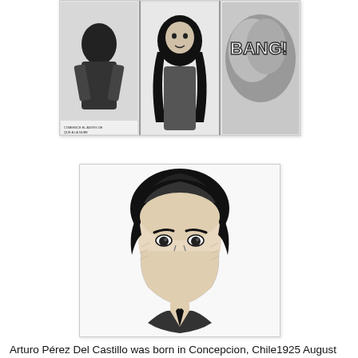[Figure (illustration): Black and white comic strip panels showing three scenes: a figure in a coat on the left panel, a woman with long dark hair in the center panel, and a 'BANG!' sound effect with smoke on the right panel. Small text caption at the bottom of the left panel reads 'COMIENCE EL ANTES DE QUE A LA NUBE']
[Figure (illustration): Black and white ink portrait illustration of a man with wavy hair, strong features, looking slightly downward. Rendered in a classic comic/editorial illustration style with cross-hatching and bold lines.]
Arturo Pérez Del Castillo was born in Concepcion, Chile1925 August 25, . He started working for an advertising agency, but eventually joined his brother Jorge Perez del Castillo in Buenos Aires, Argentina, in 1948. He got a job as a letterer and illustrator with Editorial Columba and its magazine